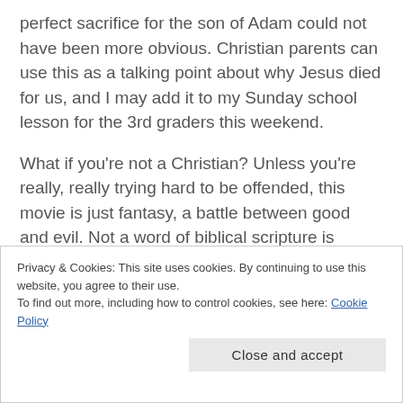perfect sacrifice for the son of Adam could not have been more obvious. Christian parents can use this as a talking point about why Jesus died for us, and I may add it to my Sunday school lesson for the 3rd graders this weekend.
What if you're not a Christian? Unless you're really, really trying hard to be offended, this movie is just fantasy, a battle between good and evil. Not a word of biblical scripture is uttered. In short, if you don't want to see the symbolism, it isn't there. Just enjoy a good, wholesome fantasy movie.
Privacy & Cookies: This site uses cookies. By continuing to use this website, you agree to their use. To find out more, including how to control cookies, see here: Cookie Policy
Close and accept